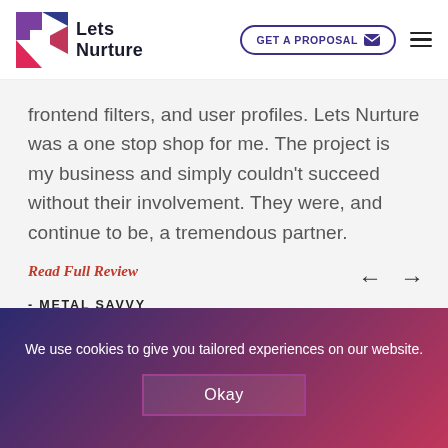[Figure (logo): LetsNurture logo with colorful geometric icon and company name]
frontend filters, and user profiles. Lets Nurture was a one stop shop for me. The project is my business and simply couldn't succeed without their involvement. They were, and continue to be, a tremendous partner.
Read Full Review
- METAL SAVVY
We use cookies to give you tailored experiences on our website.
Okay